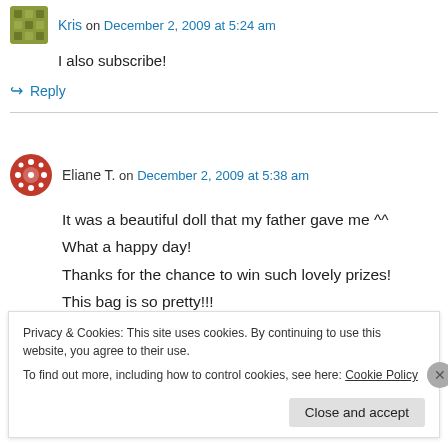Kris on December 2, 2009 at 5:24 am
I also subscribe!
↪ Reply
Eliane T. on December 2, 2009 at 5:38 am
It was a beautiful doll that my father gave me ^^
What a happy day!
Thanks for the chance to win such lovely prizes!
This bag is so pretty!!!
Privacy & Cookies: This site uses cookies. By continuing to use this website, you agree to their use.
To find out more, including how to control cookies, see here: Cookie Policy
Close and accept